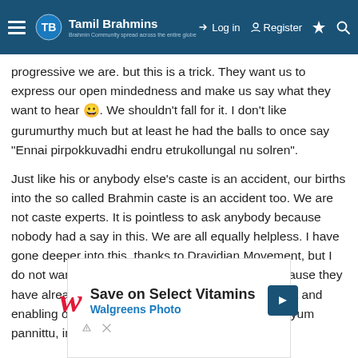Tamil Brahmins — Log in | Register
progressive we are. but this is a trick. They want us to express our open mindedness and make us say what they want to hear 😀. We shouldn't fall for it. I don't like gurumurthy much but at least he had the balls to once say "Ennai pirpokkuvadhi endru etrukollungal nu solren".
Just like his or anybody else's caste is an accident, our births into the so called Brahmin caste is an accident too. We are not caste experts. It is pointless to ask anybody because nobody had a say in this. We are all equally helpless. I have gone deeper into this, thanks to Dravidian Movement, but I do not want to discuss those things with tamils because they have already disqualified themselves by carrying out and enabling one hundred years of Brahmin hate. Adhayum pannittu, indha
[Figure (screenshot): Walgreens Photo advertisement: Save on Select Vitamins — Walgreens Photo, with Walgreens W logo and a blue diamond navigation arrow icon]